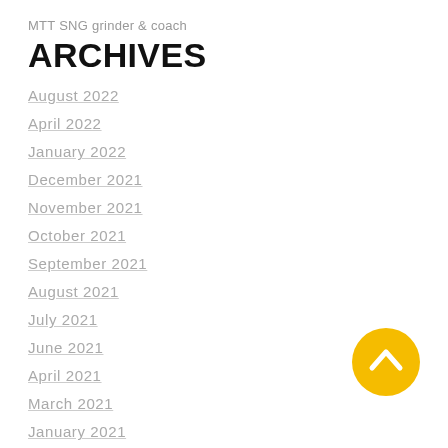MTT SNG grinder & coach
ARCHIVES
August 2022
April 2022
January 2022
December 2021
November 2021
October 2021
September 2021
August 2021
July 2021
June 2021
April 2021
March 2021
January 2021
December 2020
November 2020
September 2020
[Figure (illustration): Yellow circular back-to-top button with white upward chevron arrow]